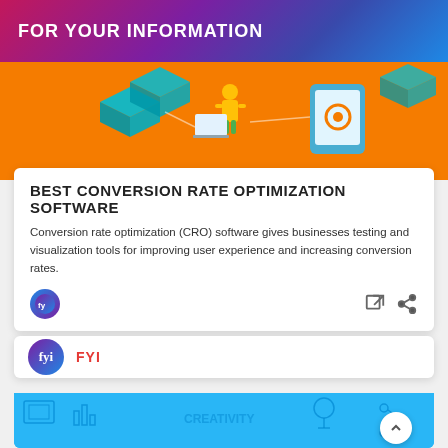FOR YOUR INFORMATION
[Figure (illustration): Digital technology illustration with a person working on laptop, mobile devices, gears and connectivity icons on an orange background]
BEST CONVERSION RATE OPTIMIZATION SOFTWARE
Conversion rate optimization (CRO) software gives businesses testing and visualization tools for improving user experience and increasing conversion rates.
[Figure (logo): FYI app circular logo icon with stylized 'fy' text and share/external link action icons]
FYI
[Figure (illustration): Light blue banner with creativity and business concept icons in outline style, with a white circular scroll-up button]